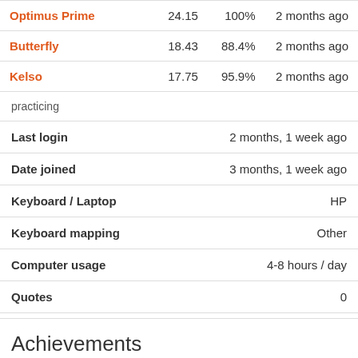| Name | WPM | Accuracy | Date |
| --- | --- | --- | --- |
| Optimus Prime | 24.15 | 100% | 2 months ago |
| Butterfly | 18.43 | 88.4% | 2 months ago |
| Kelso | 17.75 | 95.9% | 2 months ago |
practicing
| Field | Value |
| --- | --- |
| Last login | 2 months, 1 week ago |
| Date joined | 3 months, 1 week ago |
| Keyboard / Laptop | HP |
| Keyboard mapping | Other |
| Computer usage | 4-8 hours / day |
| Quotes | 0 |
Achievements
Speed:
[Figure (illustration): Three hand/finger icons in beige/tan color representing speed achievement levels]